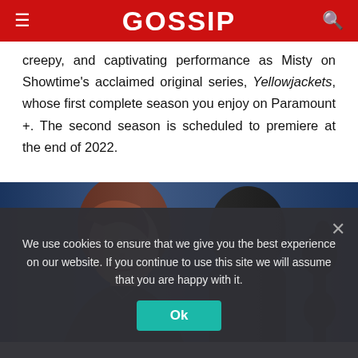GOSSIP
creepy, and captivating performance as Misty on Showtime's acclaimed original series, Yellowjackets, whose first complete season you enjoy on Paramount +. The second season is scheduled to premiere at the end of 2022.
[Figure (photo): Woman with reddish-brown hair in a black jacket looking intensely at camera, beside a dark silhouette of a person holding a cello, against a blue background.]
We use cookies to ensure that we give you the best experience on our website. If you continue to use this site we will assume that you are happy with it.